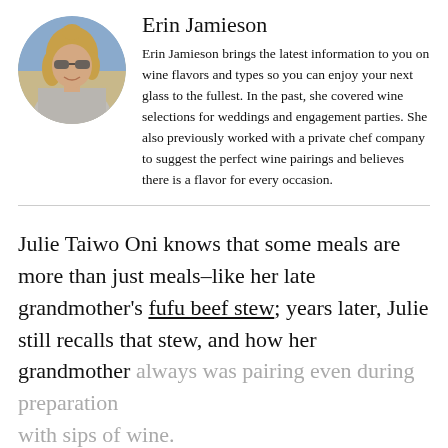Erin Jamieson
[Figure (photo): Circular portrait photo of Erin Jamieson, a woman with blonde hair wearing sunglasses, smiling, outdoors]
Erin Jamieson brings the latest information to you on wine flavors and types so you can enjoy your next glass to the fullest. In the past, she covered wine selections for weddings and engagement parties. She also previously worked with a private chef company to suggest the perfect wine pairings and believes there is a flavor for every occasion.
Julie Taiwo Oni knows that some meals are more than just meals–like her late grandmother's fufu beef stew; years later, Julie still recalls that stew, and how her grandmother always was pairing even during preparation with sips of wine.